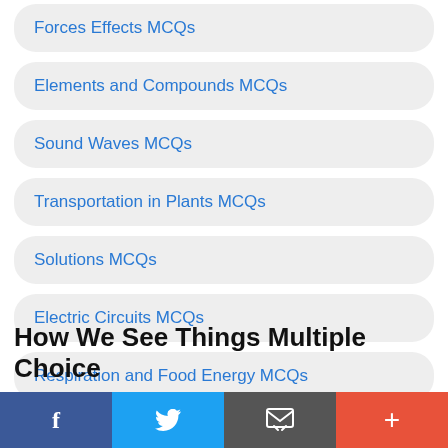Forces Effects MCQs
Elements and Compounds MCQs
Sound Waves MCQs
Transportation in Plants MCQs
Solutions MCQs
Electric Circuits MCQs
Respiration and Food Energy MCQs
Atoms and Atom Model MCQs
How We See Things Multiple Choice
Facebook | Twitter | Email | +